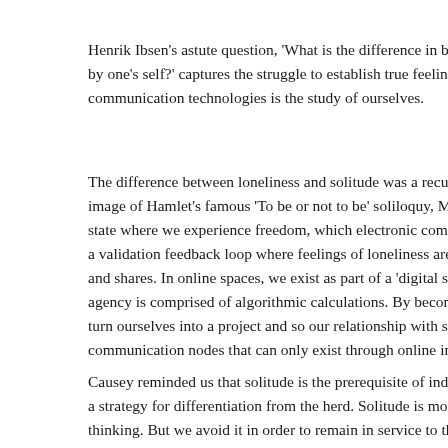Henrik Ibsen's astute question, 'What is the difference in being by one's self?' captures the struggle to establish true feelings of communication technologies is the study of ourselves.
The difference between loneliness and solitude was a recurrent image of Hamlet's famous 'To be or not to be' soliloquy, Matthe state where we experience freedom, which electronic communic a validation feedback loop where feelings of loneliness are only and shares. In online spaces, we exist as part of a 'digital swarm agency is comprised of algorithmic calculations. By becoming t turn ourselves into a project and so our relationship with society communication nodes that can only exist through online interac
Causey reminded us that solitude is the prerequisite of individua a strategy for differentiation from the herd. Solitude is more tha thinking. But we avoid it in order to remain in service to the tec allow us to be forgotten, meaning we can never be truly alone, e screens.